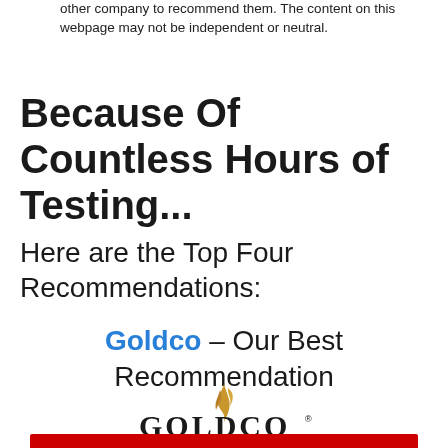other company to recommend them. The content on this webpage may not be independent or neutral.
Because Of Countless Hours of Testing...
Here are the Top Four Recommendations:
Goldco – Our Best Recommendation
[Figure (logo): Goldco logo: a golden feather/flame above large black serif text GOLDCO with a registered trademark symbol]
[Figure (other): Red button/bar at the bottom of the page]